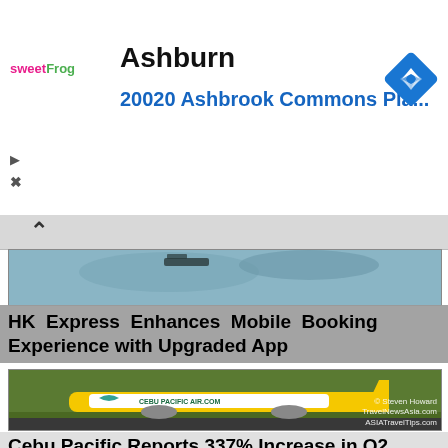[Figure (screenshot): Advertisement banner for sweetFrog with Ashburn location at 20020 Ashbrook Commons Pla... with blue navigation diamond icon]
Ashburn
20020 Ashbrook Commons Pla...
[Figure (photo): Aerial/ocean view partially visible behind chevron UI element]
HK Express Enhances Mobile Booking Experience with Upgraded App
[Figure (photo): Cebu Pacific Air yellow and white aircraft on runway, trees and airport infrastructure in background. Watermark: © Steven Howard TravelNewsAsia.com ASIATravelTips.com]
Cebu Pacific Reports 337% Increase in Q2